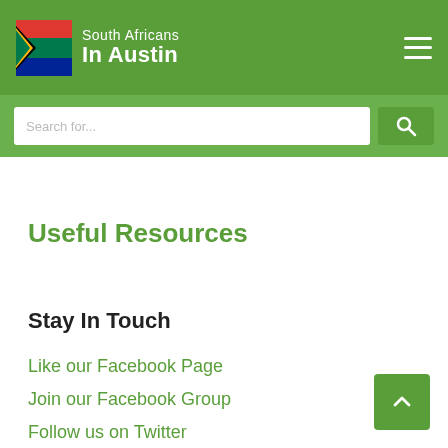South Africans In Austin
Useful Resources
Stay In Touch
Like our Facebook Page
Join our Facebook Group
Follow us on Twitter